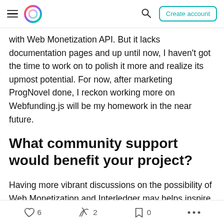≡ [logo] [search] Create account
with Web Monetization API. But it lacks documentation pages and up until now, I haven't got the time to work on to polish it more and realize its upmost potential. For now, after marketing ProgNovel done, I reckon working more on Webfunding.js will be my homework in the near future.
What community support would benefit your project?
Having more vibrant discussions on the possibility of Web Monetization and Interledger may helps inspire more polished business models. Please contribute to
♡ 6   ✦ 2   □ 0   ...